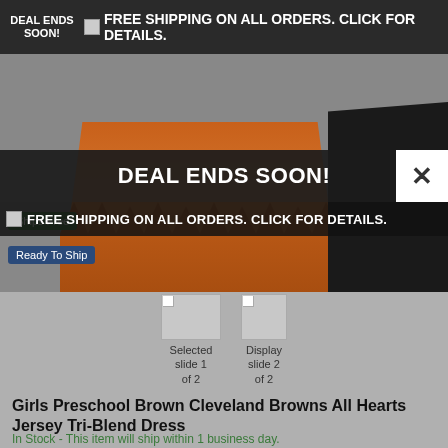DEAL ENDS SOON! FREE SHIPPING ON ALL ORDERS. CLICK FOR DETAILS.
[Figure (photo): Product photo of Girls Preschool Brown Cleveland Browns All Hearts Jersey Tri-Blend Dress showing orange ruffled skirt and black sleeve]
DEAL ENDS SOON!
FREE SHIPPING ON ALL ORDERS. CLICK FOR DETAILS.
Ships Free
Ready To Ship
[Figure (other): Selected slide 1 of 2 thumbnail navigation]
[Figure (other): Display slide 2 of 2 thumbnail navigation]
Girls Preschool Brown Cleveland Browns All Hearts Jersey Tri-Blend Dress
In Stock - This item will ship within 1 business day.
Your Price: $34.99